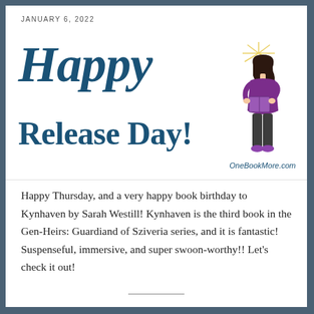JANUARY 6, 2022
Happy Release Day!
[Figure (illustration): A cartoon illustration of a woman with long dark hair, wearing a purple top and dark pants, holding a book, with yellow sunburst rays emanating above her head.]
OneBookMore.com
Happy Thursday, and a very happy book birthday to Kynhaven by Sarah Westill! Kynhaven is the third book in the Gen-Heirs: Guardiand of Sziveria series, and it is fantastic! Suspenseful, immersive, and super swoon-worthy!! Let's check it out!